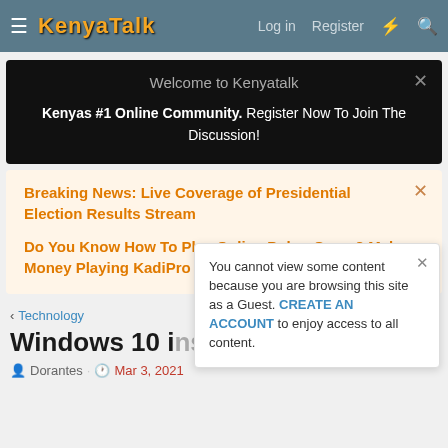KenyaTalk — Log in  Register
Welcome to Kenyatalk
Kenyas #1 Online Community. Register Now To Join The Discussion!
Breaking News: Live Coverage of Presidential Election Results Stream
Do You Know How To Play Online Poker Game? Make Money Playing KadiPro Today. Click Here To Play
< Technology
Windows 10 installation
Dorantes · Mar 3, 2021
You cannot view some content because you are browsing this site as a Guest. CREATE AN ACCOUNT to enjoy access to all content.